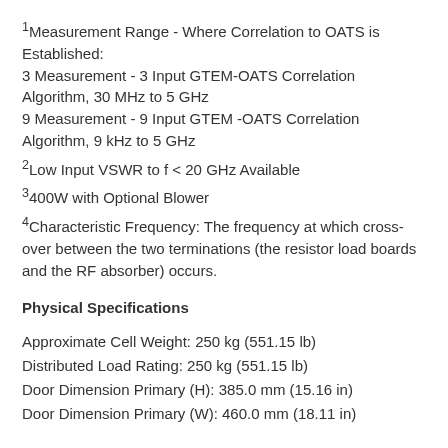1Measurement Range - Where Correlation to OATS is Established: 3 Measurement - 3 Input GTEM-OATS Correlation Algorithm, 30 MHz to 5 GHz; 9 Measurement - 9 Input GTEM -OATS Correlation Algorithm, 9 kHz to 5 GHz
2Low Input VSWR to f < 20 GHz Available
3400W with Optional Blower
4Characteristic Frequency: The frequency at which cross-over between the two terminations (the resistor load boards and the RF absorber) occurs.
Physical Specifications
Approximate Cell Weight: 250 kg (551.15 lb)
Distributed Load Rating: 250 kg (551.15 lb)
Door Dimension Primary (H): 385.0 mm (15.16 in)
Door Dimension Primary (W): 460.0 mm (18.11 in)